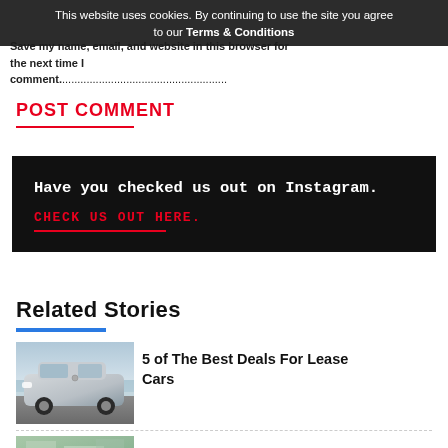This website uses cookies. By continuing to use the site you agree to our Terms & Conditions
Save my name, email, and website in this browser for the next time I comment.
POST COMMENT
[Figure (infographic): Black banner: Have you checked us out on Instagram. CHECK US OUT HERE. with red text and red underline.]
Related Stories
[Figure (photo): Silver SUV (Mercedes EQC) parked near water/coast]
5 of The Best Deals For Lease Cars
[Figure (photo): Partial photo of a car, green/teal tones, bottom of page]